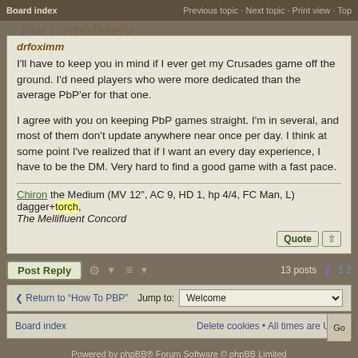Board index « « ... | Previous topic · Next topic · Print view · Top
I'll have to keep you in mind if I ever get my Crusades game off the ground. I'd need players who were more dedicated than the average PbP'er for that one.

I agree with you on keeping PbP games straight. I'm in several, and most of them don't update anywhere near once per day. I think at some point I've realized that if I want an every day experience, I have to be the DM. Very hard to find a good game with a fast pace.
Chiron the Medium (MV 12", AC 9, HD 1, hp 4/4, FC Man, L) dagger+torch, The Mellifluent Concord
Post Reply   13 posts  < 1 2
< Return to "How To PBP"   Jump to: Welcome
Board index   Delete cookies · All times are UTC
Powered by phpBB® Forum Software © phpBB Limited
Designed by ST Software.